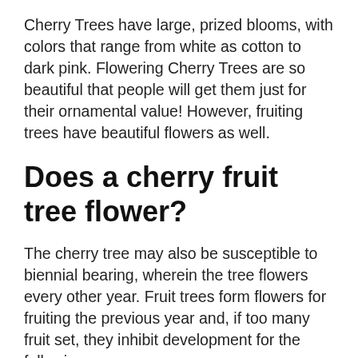Cherry Trees have large, prized blooms, with colors that range from white as cotton to dark pink. Flowering Cherry Trees are so beautiful that people will get them just for their ornamental value! However, fruiting trees have beautiful flowers as well.
Does a cherry fruit tree flower?
The cherry tree may also be susceptible to biennial bearing, wherein the tree flowers every other year. Fruit trees form flowers for fruiting the previous year and, if too many fruit set, they inhibit development for the following year.